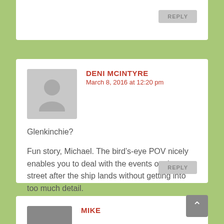REPLY
DENI MCINTYRE
March 8, 2016 at 12:20 pm
Glenkinchie?

Fun story, Michael. The bird’s-eye POV nicely enables you to deal with the events on the street after the ship lands without getting into too much detail.

Keep us on your list!
REPLY
MIKE